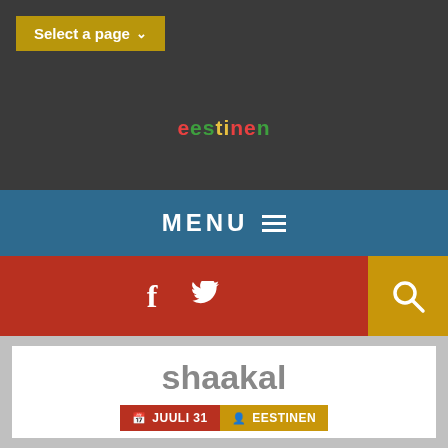Select a page
eestinen
MENU
[Figure (screenshot): Social media bar with Facebook and Twitter icons on red background, and a search icon on gold/yellow background]
shaakal
JUULI 31  EESTINEN